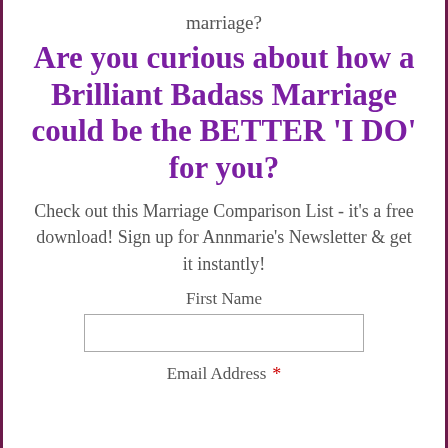marriage?
Are you curious about how a Brilliant Badass Marriage could be the BETTER 'I DO' for you?
Check out this Marriage Comparison List - it's a free download! Sign up for Annmarie's Newsletter & get it instantly!
First Name
Email Address *